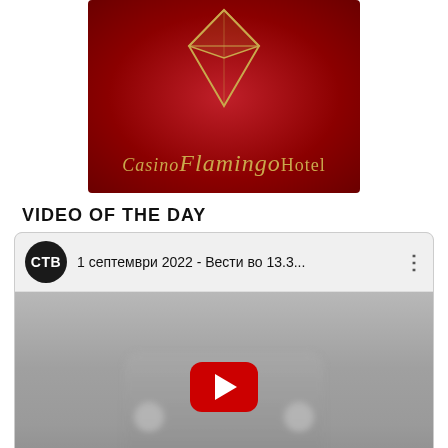[Figure (logo): Casino Flamingo Hotel logo on red background with gold diamond shape and gold script text]
VIDEO OF THE DAY
[Figure (screenshot): YouTube video player showing CTB channel video titled '1 септември 2022 - Вести во 13.3...' with YouTube play button overlay on grey thumbnail]